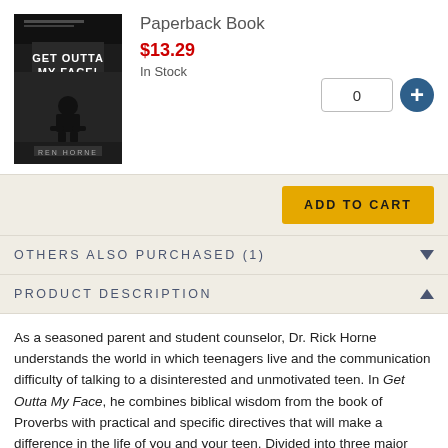Paperback Book
$13.29
In Stock
[Figure (illustration): Book cover for 'Get Outta My Face!' by Ben Horne, dark background with silhouette figure]
ADD TO CART
OTHERS ALSO PURCHASED (1)
PRODUCT DESCRIPTION
As a seasoned parent and student counselor, Dr. Rick Horne understands the world in which teenagers live and the communication difficulty of talking to a disinterested and unmotivated teen. In Get Outta My Face, he combines biblical wisdom from the book of Proverbs with practical and specific directives that will make a difference in the life of you and your teen. Divided into three major sections, Part 1 addresses what you must understand to connect with your teen. Part 2 tells you what you must do